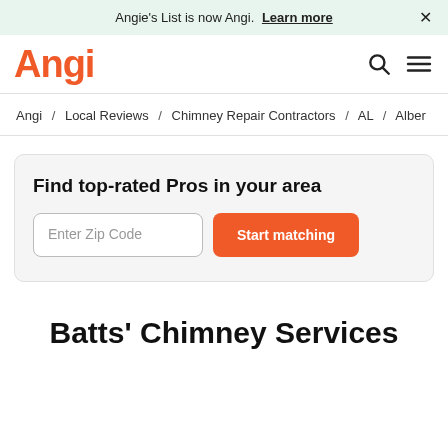Angie's List is now Angi. Learn more
[Figure (logo): Angi logo in orange/red color with search and hamburger menu icons]
Angi / Local Reviews / Chimney Repair Contractors / AL / Alber
Find top-rated Pros in your area
Enter Zip Code  Start matching
Batts' Chimney Services